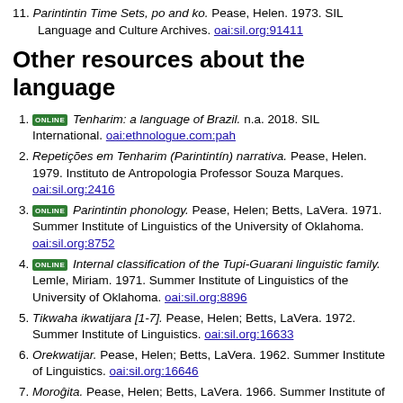11. Parintintin Time Sets, po and ko. Pease, Helen. 1973. SIL Language and Culture Archives. oai:sil.org:91411
Other resources about the language
1. [ONLINE] Tenharim: a language of Brazil. n.a. 2018. SIL International. oai:ethnologue.com:pah
2. Repetições em Tenharim (Parintintín) narrativa. Pease, Helen. 1979. Instituto de Antropologia Professor Souza Marques. oai:sil.org:2416
3. [ONLINE] Parintintin phonology. Pease, Helen; Betts, LaVera. 1971. Summer Institute of Linguistics of the University of Oklahoma. oai:sil.org:8752
4. [ONLINE] Internal classification of the Tupi-Guarani linguistic family. Lemle, Miriam. 1971. Summer Institute of Linguistics of the University of Oklahoma. oai:sil.org:8896
5. Tikwaha ikwatijara [1-7]. Pease, Helen; Betts, LaVera. 1972. Summer Institute of Linguistics. oai:sil.org:16633
6. Orekwatijar. Pease, Helen; Betts, LaVera. 1962. Summer Institute of Linguistics. oai:sil.org:16646
7. Moroĝita. Pease, Helen; Betts, LaVera. 1966. Summer Institute of Linguistics. oai:sil.org:16682
8. [ONLINE] A Sociolinguistic Survey of the Ethnolinguistic Groups Around the Intersection of the Marmelos River and the Trans-Amazon Highway. Anonby, Stan. 2018. SIL International. oai:sil.org:78614
9. Ore Nhomomirika ʼndika ʼndirame. Silva, João Bosco da.